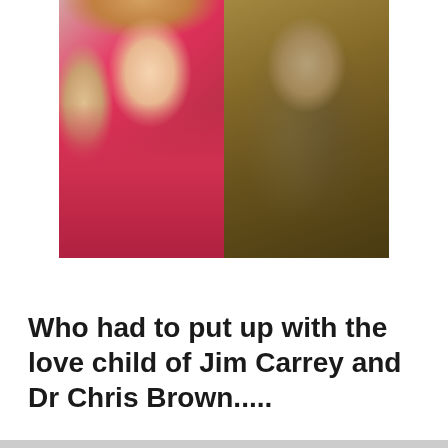[Figure (photo): Side-by-side composite photo: on the left, a young woman with long blonde hair wearing a pink/red dress; on the right, a young woman with long dark straight hair with bangs, wearing dark clothing, styled in an anime/doll-like aesthetic.]
Who had to put up with the love child of Jim Carrey and Dr Chris Brown.....